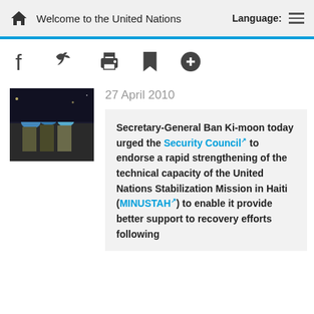Welcome to the United Nations  Language:
[Figure (screenshot): UN peacekeepers in blue helmets, military personnel in camouflage gear]
27 April 2010
Secretary-General Ban Ki-moon today urged the Security Council to endorse a rapid strengthening of the technical capacity of the United Nations Stabilization Mission in Haiti (MINUSTAH) to enable it provide better support to recovery efforts following